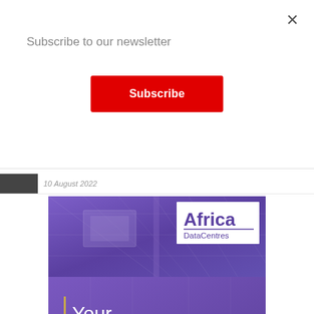Subscribe to our newsletter
Subscribe
×
10 August 2022
[Figure (illustration): Africa DataCentres advertisement banner showing a purple data centre interior with the Africa DataCentres logo in the top right corner and text 'Your trusted partner' in white on a purple background with a gold vertical bar accent]